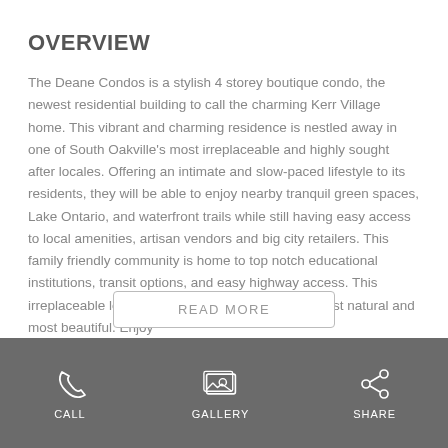OVERVIEW
The Deane Condos is a stylish 4 storey boutique condo, the newest residential building to call the charming Kerr Village home. This vibrant and charming residence is nestled away in one of South Oakville's most irreplaceable and highly sought after locales. Offering an intimate and slow-paced lifestyle to its residents, they will be able to enjoy nearby tranquil green spaces, Lake Ontario, and waterfront trails while still having easy access to local amenities, artisan vendors and big city retailers. This family friendly community is home to top notch educational institutions, transit options, and easy highway access. This irreplaceable location is one of South Oakville's most natural and most beautiful. Enjoy
READ MORE
[Figure (infographic): Footer navigation bar with three icons and labels: CALL (phone icon), GALLERY (image/gallery icon), SHARE (share icon)]